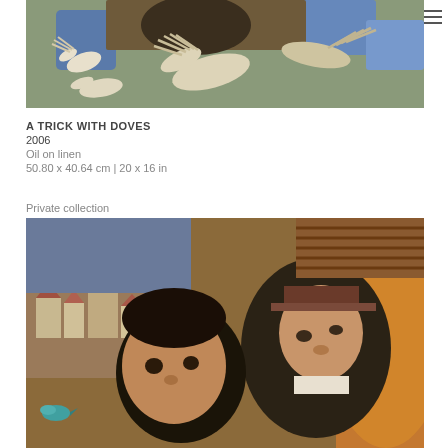[Figure (photo): Painting detail showing white doves in flight against a blue and brown background, with hands or wings visible]
A TRICK WITH DOVES
2006
Oil on linen
50.80 x 40.64 cm | 20 x 16 in
Private collection
[Figure (photo): Painting showing two figures (a child and an adult/magician) with a town scene in the background, a blue bird visible at lower left, and candles in the upper portion]